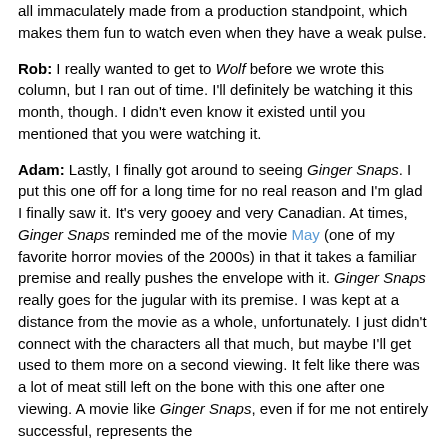all immaculately made from a production standpoint, which makes them fun to watch even when they have a weak pulse.
Rob: I really wanted to get to Wolf before we wrote this column, but I ran out of time. I'll definitely be watching it this month, though. I didn't even know it existed until you mentioned that you were watching it.
Adam: Lastly, I finally got around to seeing Ginger Snaps. I put this one off for a long time for no real reason and I'm glad I finally saw it. It's very gooey and very Canadian. At times, Ginger Snaps reminded me of the movie May (one of my favorite horror movies of the 2000s) in that it takes a familiar premise and really pushes the envelope with it. Ginger Snaps really goes for the jugular with its premise. I was kept at a distance from the movie as a whole, unfortunately. I just didn't connect with the characters all that much, but maybe I'll get used to them more on a second viewing. It felt like there was a lot of meat still left on the bone with this one after one viewing. A movie like Ginger Snaps, even if for me not entirely successful, represents the